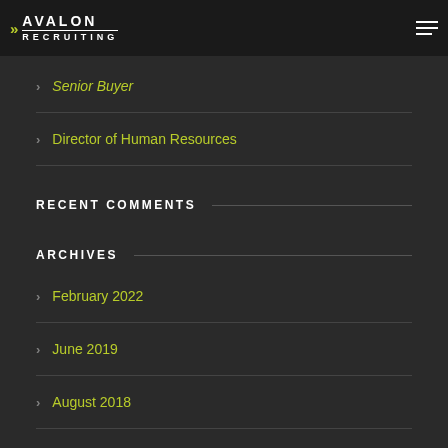AVALON RECRUITING
Senior Buyer
Director of Human Resources
RECENT COMMENTS
ARCHIVES
February 2022
June 2019
August 2018